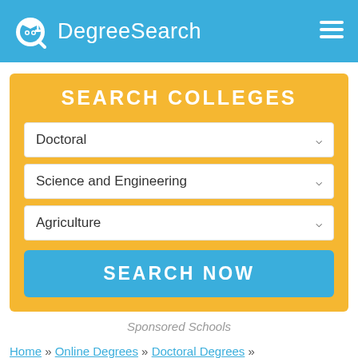DegreeSearch
SEARCH COLLEGES
Doctoral
Science and Engineering
Agriculture
SEARCH NOW
Sponsored Schools
Home » Online Degrees » Doctoral Degrees »